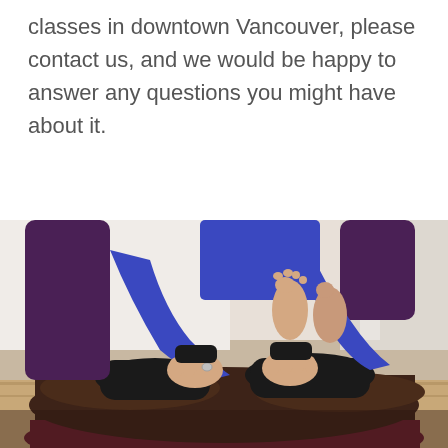classes in downtown Vancouver, please contact us, and we would be happy to answer any questions you might have about it.
[Figure (photo): A yoga instructor in a purple/blue long-sleeve top and purple leggings assisting a student lying on dark brown bolster cushions, adjusting the student's knees. The student wears black leggings. Studio setting with wooden floor visible in background.]